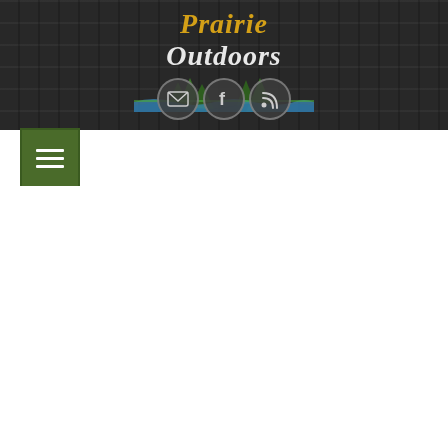[Figure (logo): Prairie Outdoors website header with dark wood-grain textured background, logo text 'Prairie Outdoors' with decorative tree and water graphics, social media icons (email, Facebook, RSS), and a green hamburger menu button]
[Figure (other): White content area below the header navigation]